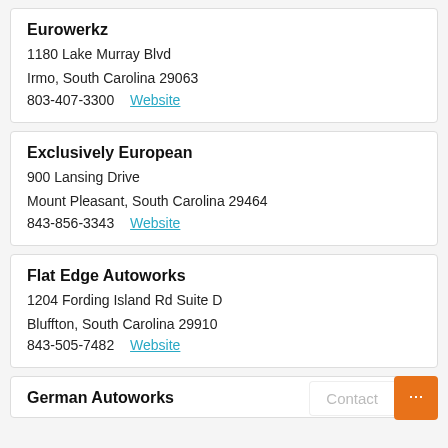Eurowerkz
1180 Lake Murray Blvd
Irmo, South Carolina 29063
803-407-3300  Website
Exclusively European
900 Lansing Drive
Mount Pleasant, South Carolina 29464
843-856-3343  Website
Flat Edge Autoworks
1204 Fording Island Rd Suite D
Bluffton, South Carolina 29910
843-505-7482  Website
German Autoworks